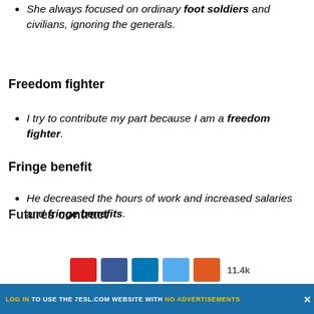She always focused on ordinary foot soldiers and civilians, ignoring the generals.
Freedom fighter
I try to contribute my part because I am a freedom fighter.
Fringe benefit
He decreased the hours of work and increased salaries and fringe benefits.
Futures contract
LOG IN TO USE THE 7ESL.COM WEBSITE WITH NO ADVERTISEMENTS